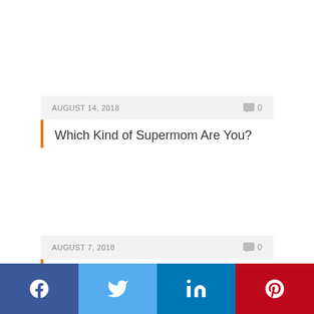AUGUST 14, 2018   0
Which Kind of Supermom Are You?
AUGUST 7, 2018   0
Top 10 Wittiest Auto Repair Shop Names 2...
[Figure (infographic): Social share bar with Facebook, Twitter, LinkedIn, Pinterest buttons]